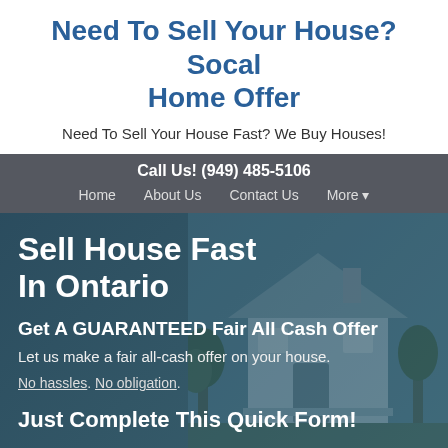Need To Sell Your House? Socal Home Offer
Need To Sell Your House Fast? We Buy Houses!
Call Us! (949) 485-5106
Home  About Us  Contact Us  More ▼
Sell House Fast In Ontario
Get A GUARANTEED Fair All Cash Offer
Let us make a fair all-cash offer on your house.
No hassles. No obligation.
Just Complete This Quick Form!